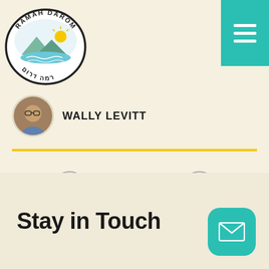[Figure (logo): Ramah Darom circular logo with Hebrew text רמה דרום and an oval landscape illustration]
[Figure (other): Teal/green hamburger menu button in top-right corner with three white horizontal lines]
WALLY LEVITT
01 / 21
Stay in Touch
[Figure (other): Teal rounded square email/envelope icon button in bottom-right corner]